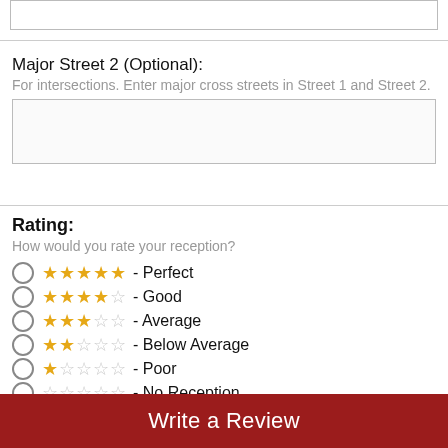Major Street 2 (Optional):
For intersections. Enter major cross streets in Street 1 and Street 2.
Rating:
How would you rate your reception?
★★★★★ - Perfect
★★★★☆ - Good
★★★☆☆ - Average
★★☆☆☆ - Below Average
★☆☆☆☆ - Poor
☆☆☆☆☆ - No Reception
Comments:
Write a Review